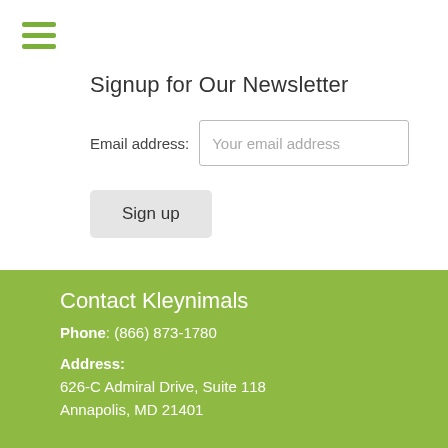[Figure (other): Green hamburger menu icon with three horizontal lines]
Signup for Our Newsletter
Email address: Your email address
Sign up
Contact Kleynimals
Phone: (866) 873-1780
Address:
626-C Admiral Drive, Suite 118
Annapolis, MD 21401